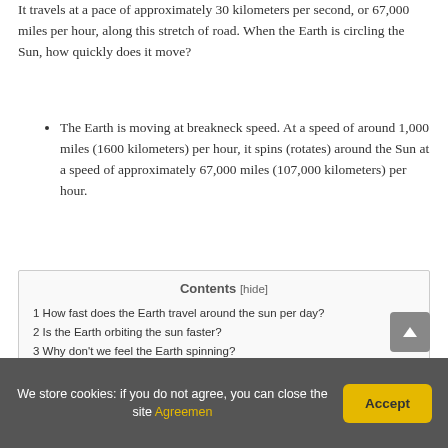It travels at a pace of approximately 30 kilometers per second, or 67,000 miles per hour, along this stretch of road. When the Earth is circling the Sun, how quickly does it move?
The Earth is moving at breakneck speed. At a speed of around 1,000 miles (1600 kilometers) per hour, it spins (rotates) around the Sun at a speed of approximately 67,000 miles (107,000 kilometers) per hour.
| Contents |
| --- |
| 1 How fast does the Earth travel around the sun per day? |
| 2 Is the Earth orbiting the sun faster? |
| 3 Why don't we feel the Earth spinning? |
| 4 How fast are we moving through space? |
| 5 How Fast Is the Moon moving away from the Earth? |
| 6 How fast is a light year in mph? |
We store cookies: if you do not agree, you can close the site Agreemen